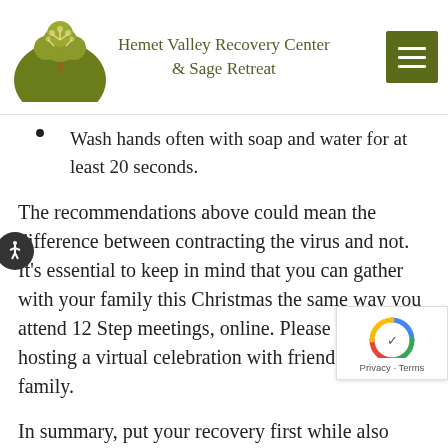Hemet Valley Recovery Center & Sage Retreat
Wash hands often with soap and water for at least 20 seconds.
The recommendations above could mean the difference between contracting the virus and not. It’s essential to keep in mind that you can gather with your family this Christmas the same way you attend 12 Step meetings, online. Please consider hosting a virtual celebration with friends and family.
In summary, put your recovery first while also